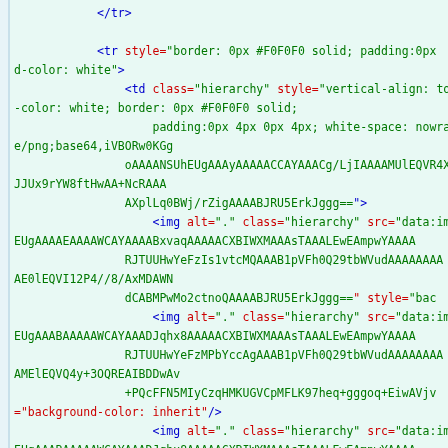[Figure (screenshot): Code editor screenshot showing HTML/XML source code with syntax highlighting. The code contains tr and td elements with inline styles, and img tags with base64-encoded src data attributes. Code is shown on a light green background with blue, green, and red syntax highlighting colors.]